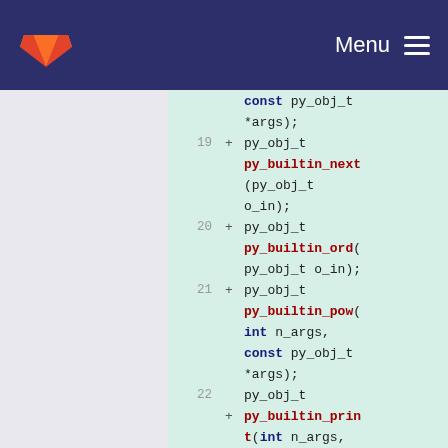GitLab Menu
[Figure (screenshot): Code diff view showing lines 19-23 of a C header file with function declarations for py_builtin_next, py_builtin_ord, py_builtin_pow, and py_builtin_print, each returning py_obj_t, shown as added lines (+ prefix) on a green background.]